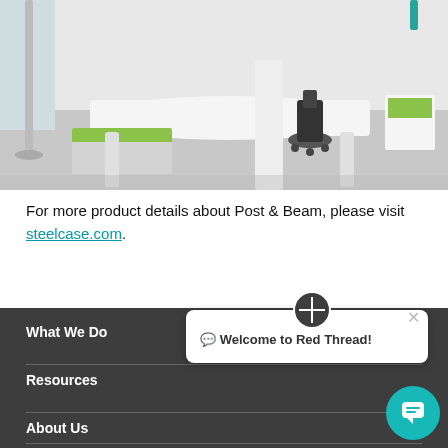[Figure (photo): Office workspace with white desks, green-cushioned seating, and a rolling chair on a light grey floor]
For more product details about Post & Beam, please visit steelcase.com.
What We Do
Resources
About Us
Welcome to Red Thread!